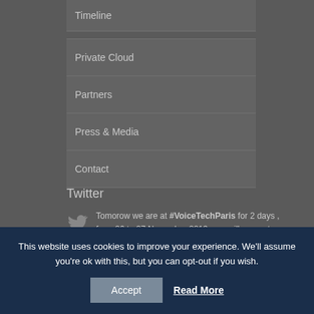Timeline
Private Cloud
Partners
Press & Media
Contact
Twitter
Tomorow we are at #VoiceTechParis for 2 days , from 26 to 27 November 2019 . we will present our #Voxibot product,… https://t.co/2q7SHAaZeJ over a year ago
This website uses cookies to improve your experience. We'll assume you're ok with this, but you can opt-out if you wish.
Accept
Read More